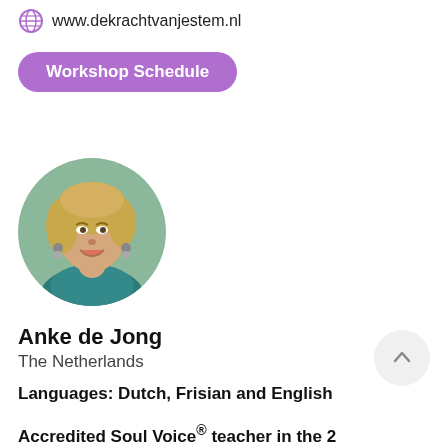www.dekrachtvanjestem.nl
Workshop Schedule
[Figure (photo): Circular profile photo of Anke de Jong, a smiling woman with blonde curly hair, wearing earrings and a teal top, against a green background.]
Anke de Jong
The Netherlands
Languages: Dutch, Frisian and English
Accredited Soul Voice® teacher in the 2